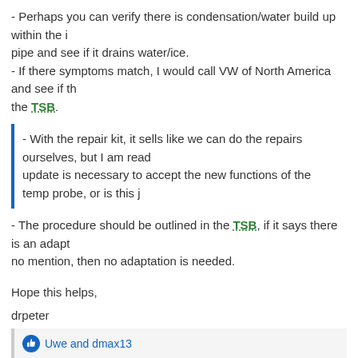- Perhaps you can verify there is condensation/water build up within the pipe and see if it drains water/ice.
- If there symptoms match, I would call VW of North America and see if the TSB.
- With the repair kit, it sells like we can do the repairs ourselves, but I am reading that a software update is necessary to accept the new functions of the temp probe, or is this j
- The procedure should be outlined in the TSB, if it says there is an adaptation needed. If no mention, then no adaptation is needed.
Hope this helps,
drpeter
Uwe and dmax13
Nov 30, 2015
dmax13
Verified VCDS User Verified